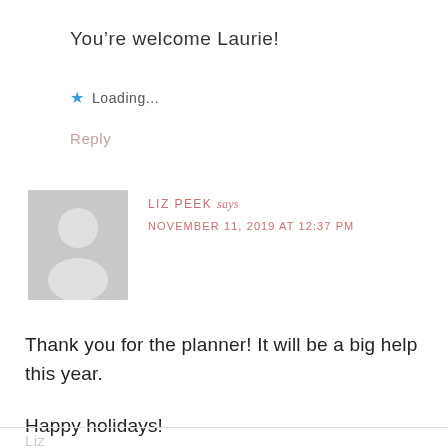You're welcome Laurie!
Loading...
Reply
[Figure (illustration): Default grey avatar placeholder with silhouette of a person (head and shoulders)]
LIZ PEEK says
NOVEMBER 11, 2019 AT 12:37 PM
Thank you for the planner! It will be a big help this year.
Happy holidays!
Liz